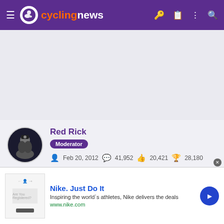cyclingnews
[Figure (screenshot): Cycling news website user profile page showing Red Rick, Moderator, joined Feb 20, 2012, with 41,952 posts, 20,421 likes, 28,180 points, and various achievement badges]
Red Rick
Moderator
Feb 20, 2012  41,952  20,421  28,180
[Figure (infographic): Row of achievement badge icons]
[Figure (infographic): Nike advertisement: Nike. Just Do It - Inspiring the world's athletes, Nike delivers the deals - www.nike.com]